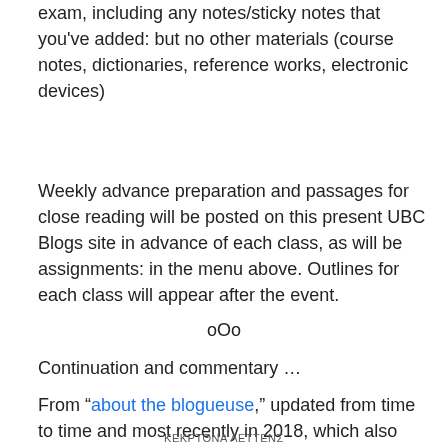exam, including any notes/sticky notes that you've added: but no other materials (course notes, dictionaries, reference works, electronic devices)
Weekly advance preparation and passages for close reading will be posted on this present UBC Blogs site in advance of each class, as will be assignments: in the menu above. Outlines for each class will appear after the event.
oOo
Continuation and commentary …
From "about the blogueuse," updated from time to time and most recently in 2018, which also echoes faculty profile > research from 2017:
ΚΕΚΡΤΘΝΑ ΛΕΤΤΕΝΣ